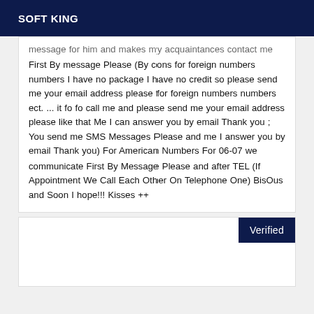SOFT KING
message for him and makes my acquaintances contact me First By message Please (By cons for foreign numbers numbers I have no package I have no credit so please send me your email address please for foreign numbers numbers ect. ... it fo fo call me and please send me your email address please like that Me I can answer you by email Thank you ; You send me SMS Messages Please and me I answer you by email Thank you) For American Numbers For 06-07 we communicate First By Message Please and after TEL (If Appointment We Call Each Other On Telephone One) BisOus and Soon I hope!!! Kisses ++
Verified